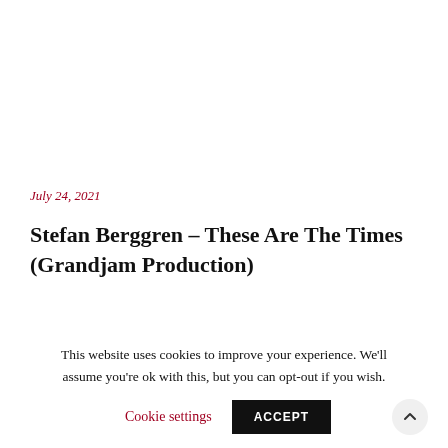July 24, 2021
Stefan Berggren – These Are The Times (Grandjam Production)
This website uses cookies to improve your experience. We'll assume you're ok with this, but you can opt-out if you wish.
Cookie settings  ACCEPT